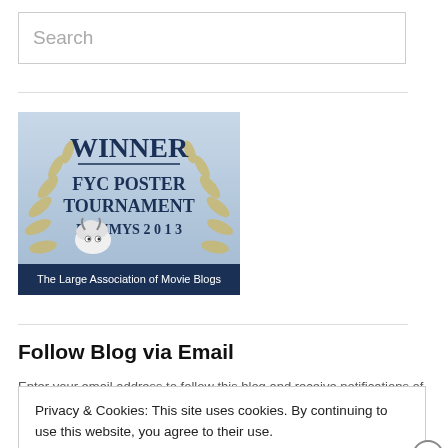Search
[Figure (illustration): WINNER FYC POSTER TOURNAMENT LAMMYS 2013 - The Large Association of Movie Blogs award badge with laurel wreath and cartoon sheep]
Follow Blog via Email
Privacy & Cookies: This site uses cookies. By continuing to use this website, you agree to their use.
To find out more, including how to control cookies, see here: Cookie Policy
Close and accept